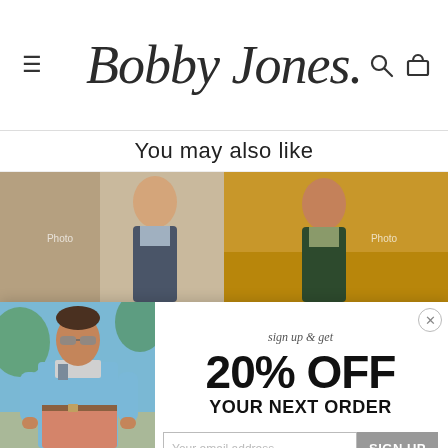Bobby Jones
You may also like
[Figure (photo): Two product photos of men in casual clothing shown side by side]
[Figure (photo): Popup modal showing a man in a light blue sweater and salmon shorts, with a promotional offer]
sign up & get
20% OFF
YOUR NEXT ORDER
Your email address
SIGN UP